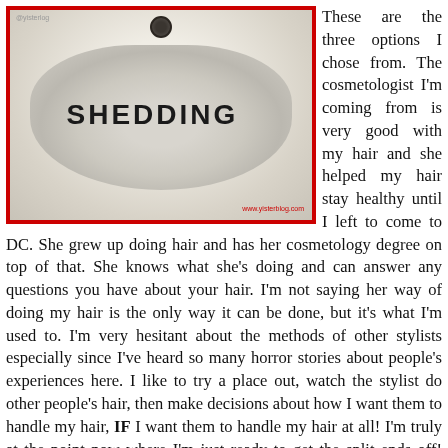[Figure (photo): Photo of a white sink basin with hair shedding/buildup, with the word SHEDDING overlaid in bold black text. Image has a red border. Watermark reads www.yisterblog.com. Username @yisterlog visible top left.]
These are the three options I chose from. The cosmetologist I'm coming from is very good with my hair and she helped my hair stay healthy until I left to come to DC. She grew up doing hair and has her cosmetology degree on top of that. She knows what she's doing and can answer any questions you have about your hair. I'm not saying her way of doing my hair is the only way it can be done, but it's what I'm used to. I'm very hesitant about the methods of other stylists especially since I've heard so many horror stories about people's experiences here. I like to try a place out, watch the stylist do other people's hair, then make decisions about how I want them to handle my hair, IF I want them to handle my hair at all! I'm truly at the point now where I'm just ready to get the split ends off! That picture of my hair shedding is an every night